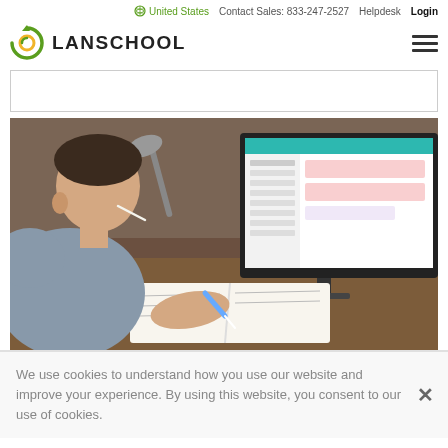United States  Contact Sales: 833-247-2527  Helpdesk  Login
[Figure (logo): LanSchool logo with circular arrow icon and text LANSCHOOL]
[Figure (photo): A student writing in a notebook at a desk with a computer monitor showing a LanSchool interface in the background]
We use cookies to understand how you use our website and improve your experience. By using this website, you consent to our use of cookies.